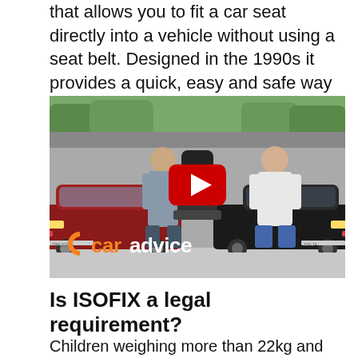that allows you to fit a car seat directly into a vehicle without using a seat belt. Designed in the 1990s it provides a quick, easy and safe way of installing a child's chair.
[Figure (screenshot): YouTube video thumbnail showing two people standing between two cars (a red and a dark one) in a car showroom, with a CarAdvice logo at the bottom and a YouTube play button overlay.]
Is ISOFIX a legal requirement?
Children weighing more than 22kg and taller than 135...